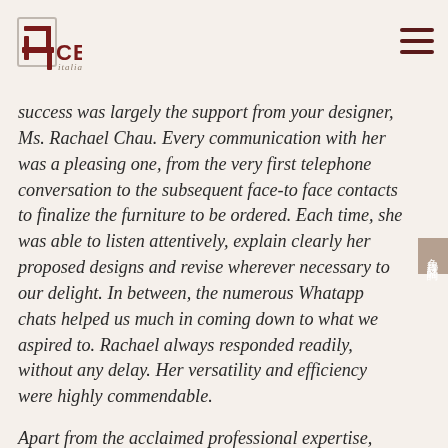[Figure (logo): Centro Italian Quality logo with stylized chair icon and brand name]
success was largely the support from your designer, Ms. Rachael Chau. Every communication with her was a pleasing one, from the very first telephone conversation to the subsequent face-to face contacts to finalize the furniture to be ordered. Each time, she was able to listen attentively, explain clearly her proposed designs and revise wherever necessary to our delight. In between, the numerous Whatapp chats helped us much in coming down to what we aspired to. Rachael always responded readily, without any delay. Her versatility and efficiency were highly commendable.
Apart from the acclaimed professional expertise, Rachael's work ethics and